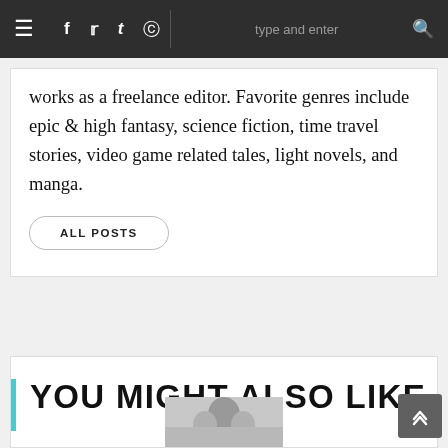≡  f  t  ✉  [type and enter]  🔍
works as a freelance editor. Favorite genres include epic & high fantasy, science fiction, time travel stories, video game related tales, light novels, and manga.
ALL POSTS
YOU MIGHT ALSO LIKE
[Figure (photo): Partially visible illustration/photo at the bottom of the page]